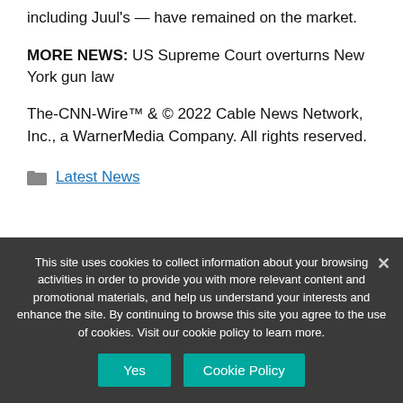including Juul's — have remained on the market.
MORE NEWS: US Supreme Court overturns New York gun law
The-CNN-Wire™ & © 2022 Cable News Network, Inc., a WarnerMedia Company. All rights reserved.
Latest News
This site uses cookies to collect information about your browsing activities in order to provide you with more relevant content and promotional materials, and help us understand your interests and enhance the site. By continuing to browse this site you agree to the use of cookies. Visit our cookie policy to learn more.